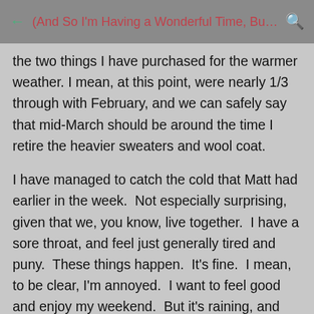(And So I'm Having a Wonderful Time, But I...
the two things I have purchased for the warmer weather. I mean, at this point, were nearly 1/3 through with February, and we can safely say that mid-March should be around the time I retire the heavier sweaters and wool coat.
I have managed to catch the cold that Matt had earlier in the week.  Not especially surprising, given that we, you know, live together.  I have a sore throat, and feel just generally tired and puny.  These things happen.  It's fine.  I mean, to be clear, I'm annoyed.  I want to feel good and enjoy my weekend.  But it's raining, and the